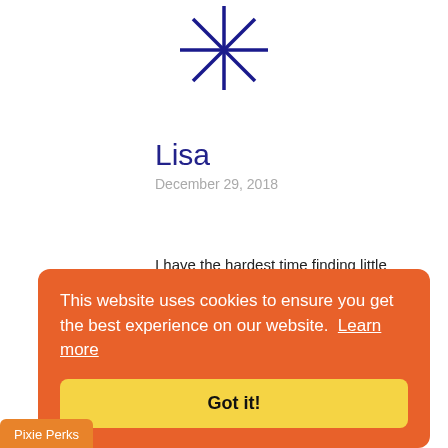[Figure (logo): Dark blue eight-pointed star logo at top center]
Lisa
December 29, 2018
I have the hardest time finding little size accessories like zippers.
[Figure (logo): Blue circular power button logo]
This website uses cookies to ensure you get the best experience on our website.  Learn more
Got it!
Pixie Perks